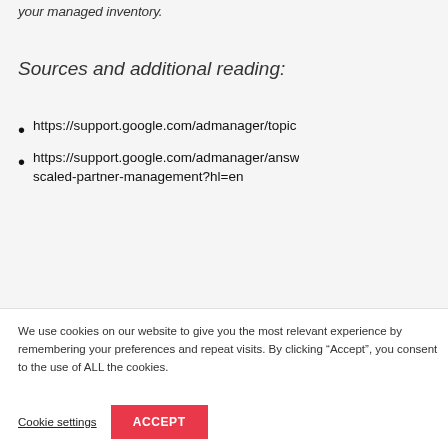your managed inventory.
Sources and additional reading:
https://support.google.com/admanager/topic…
https://support.google.com/admanager/answ… scaled-partner-management?hl=en
We use cookies on our website to give you the most relevant experience by remembering your preferences and repeat visits. By clicking “Accept”, you consent to the use of ALL the cookies.
Cookie settings
ACCEPT